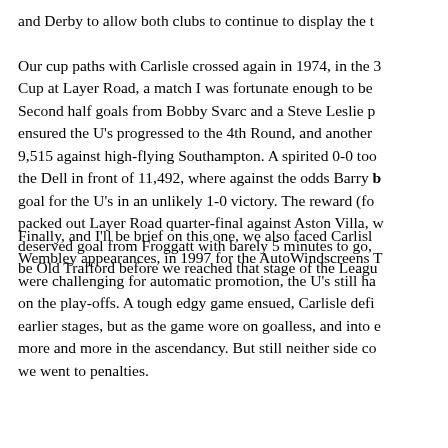and Derby to allow both clubs to continue to display the t Our cup paths with Carlisle crossed again in 1974, in the 3 Cup at Layer Road, a match I was fortunate enough to be Second half goals from Bobby Svarc and a Steve Leslie p ensured the U's progressed to the 4th Round, and another 9,515 against high-flying Southampton. A spirited 0-0 too the Dell in front of 11,492, where against the odds Barry b goal for the U's in an unlikely 1-0 victory. The reward (fo packed out Layer Road quarter-final against Aston Villa, w deserved goal from Froggatt with barely 5 minutes to go, be Old Trafford before we reached that stage of the Leagu
Finally, and I'll be brief on this one, we also faced Carlisl Wembley appearances, in 1997 for the AutoWindscreens T were challenging for automatic promotion, the U's still ha on the play-offs. A tough edgy game ensued, Carlisle defi earlier stages, but as the game wore on goalless, and into e more and more in the ascendancy. But still neither side co we went to penalties.